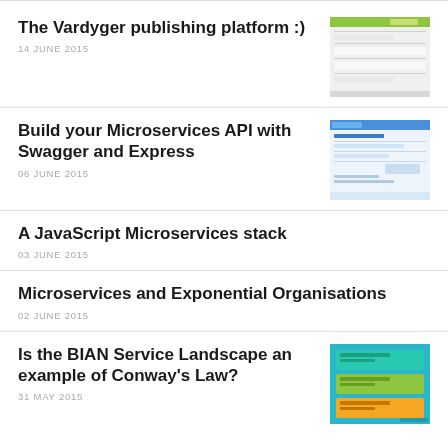The Vardyger publishing platform :)
14 JUNE 2015
[Figure (screenshot): Screenshot of the Vardyger publishing platform UI with green header bar and gray content areas]
Build your Microservices API with Swagger and Express
06 JUNE 2015
[Figure (screenshot): Screenshot of Swagger API interface with blue header and form fields]
A JavaScript Microservices stack
03 JUNE 2015
Microservices and Exponential Organisations
02 JUNE 2015
Is the BIAN Service Landscape an example of Conway's Law?
31 MAY 2015
[Figure (infographic): Colorful layered diagram showing BIAN service landscape with cyan, green, and orange layers]